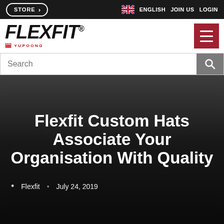STORE  ENGLISH  JOIN US  LOGIN
[Figure (logo): Flexfit by Yupoong logo with hamburger menu button]
Search
Flexfit Custom Hats Associate Your Organisation With Quality
Flexfit  •  July 24, 2019